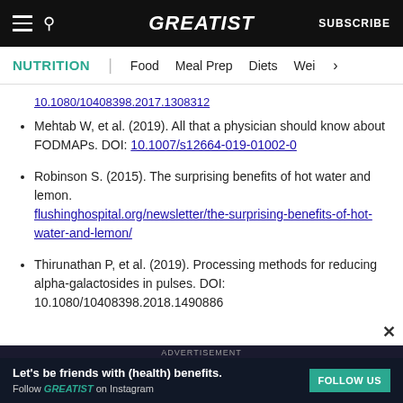GREATIST | SUBSCRIBE
NUTRITION | Food | Meal Prep | Diets | Wei >
10.1080/10408398.2017.1308312 (partial URL, linked)
Mehtab W, et al. (2019). All that a physician should know about FODMAPs. DOI: 10.1007/s12664-019-01002-0
Robinson S. (2015). The surprising benefits of hot water and lemon. flushinghospital.org/newsletter/the-surprising-benefits-of-hot-water-and-lemon/
Thirunathan P, et al. (2019). Processing methods for reducing alpha-galactosides in pulses. DOI: 10.1080/10408398.2018.1490886
ADVERTISEMENT
Let's be friends with (health) benefits. Follow GREATIST on Instagram  FOLLOW US